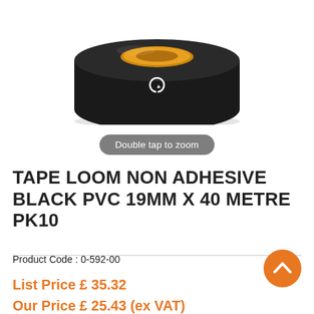[Figure (photo): A roll of black PVC tape on an orange/yellow core, viewed from a slight angle, shown on a white background.]
Double tap to zoom
TAPE LOOM NON ADHESIVE BLACK PVC 19MM X 40 METRE PK10
Product Code : 0-592-00
List Price £ 35.32
Our Price £ 25.43 (ex VAT)